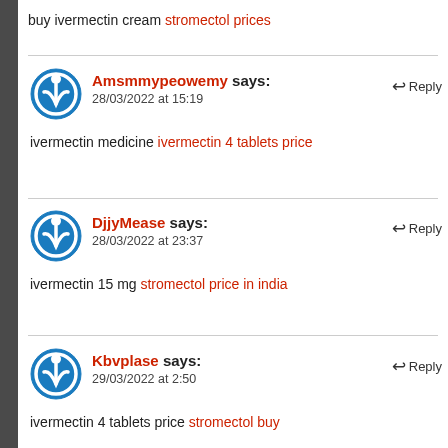buy ivermectin cream stromectol prices
Amsmmypeowemy says:
28/03/2022 at 15:19
ivermectin medicine ivermectin 4 tablets price
DjjyMease says:
28/03/2022 at 23:37
ivermectin 15 mg stromectol price in india
Kbvplase says:
29/03/2022 at 2:50
ivermectin 4 tablets price stromectol buy